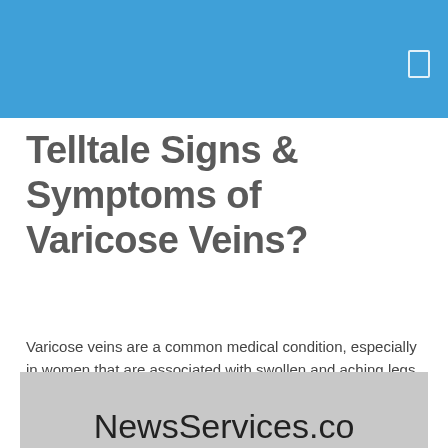Telltale Signs & Symptoms of Varicose Veins?
Varicose veins are a common medical condition, especially in women that are associated with swollen and aching legs. If you're experiencing pain in your legs that makes it feel heavy…
[Figure (photo): Gray image placeholder with 'NewsServices.co' text visible at the bottom]